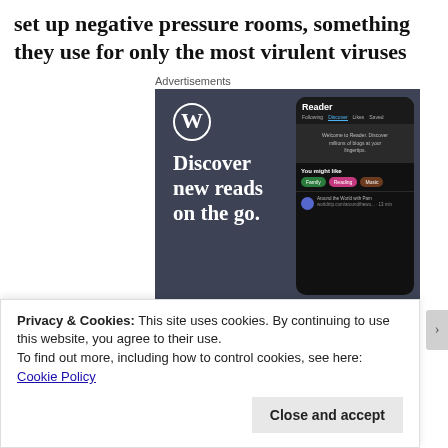set up negative pressure rooms, something they use for only the most virulent viruses
Advertisements
[Figure (screenshot): WordPress advertisement showing 'Discover new reads on the go.' with a phone mockup of the WordPress Reader app]
Privacy & Cookies: This site uses cookies. By continuing to use this website, you agree to their use.
To find out more, including how to control cookies, see here: Cookie Policy